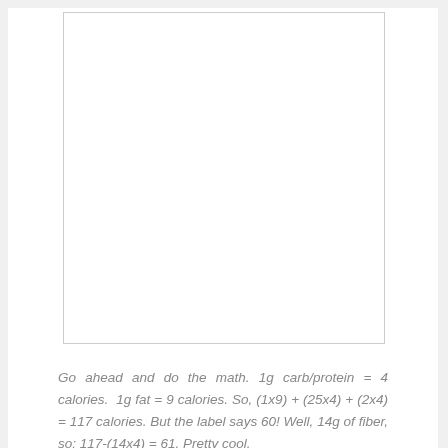[Figure (other): Large white blank rectangular box with a thin gray border, occupying the upper portion of the page.]
Go ahead and do the math. 1g carb/protein = 4 calories. 1g fat = 9 calories. So, (1x9) + (25x4) + (2x4) = 117 calories. But the label says 60! Well, 14g of fiber, so: 117-(14x4) = 61. Pretty cool.